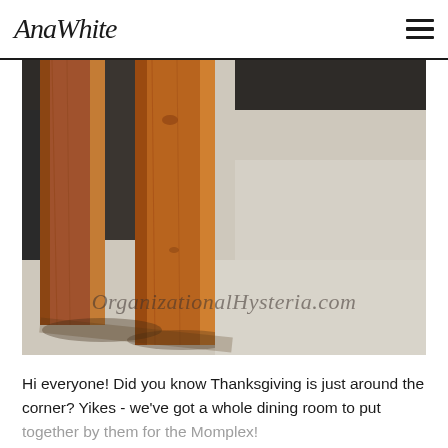AnaWhite
[Figure (photo): Close-up photo of wooden table legs with warm brown stain on a light grey/beige concrete floor, showing the base structure of a dining table. Watermark text 'OrganizationalHysteria.com' overlaid in semi-transparent italic serif font.]
Hi everyone! Did you know Thanksgiving is just around the corner? Yikes - we've got a whole dining room to put together by them for the Momplex!